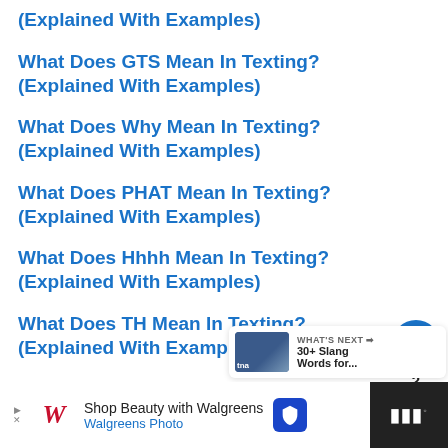(Explained With Examples)
What Does GTS Mean In Texting? (Explained With Examples)
What Does Why Mean In Texting? (Explained With Examples)
What Does PHAT Mean In Texting? (Explained With Examples)
What Does Hhhh Mean In Texting? (Explained With Examples)
What Does TH Mean In Texting? (Explained With Examples)
[Figure (other): Heart/like button (circle, blue), share button (circle, white), count '2' between them]
[Figure (other): What's Next card with thumbnail and text '30+ Slang Words for...']
[Figure (other): Walgreens advertisement banner: 'Shop Beauty with Walgreens / Walgreens Photo' with logo and shield icon]